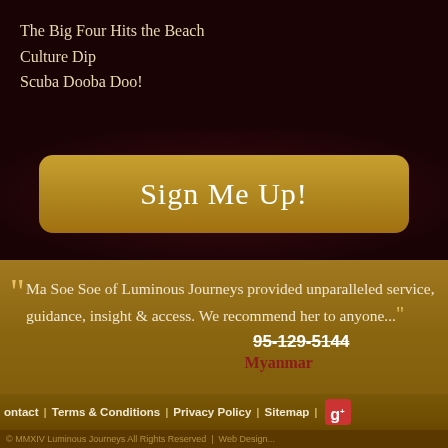The Big Four Hits the Beach
Culture Dip
Scuba Dooba Doo!
Sign Me Up!
"Ma Soe Soe of Luminous Journeys provided unparalleled service, guidance, insight & access. We recommend her to anyone..."
95-129-5144
Myanmar
Stanford Graduate School of Business
Contact | Terms & Conditions | Privacy Policy | Sitemap | [G+]